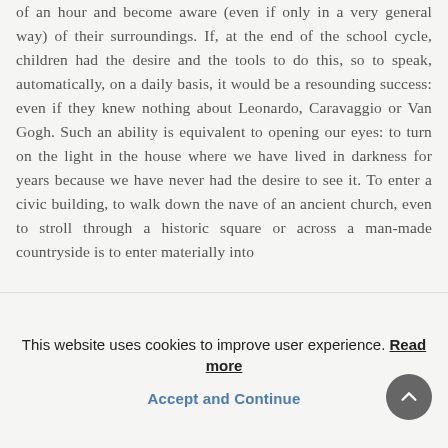of an hour and become aware (even if only in a very general way) of their surroundings. If, at the end of the school cycle, children had the desire and the tools to do this, so to speak, automatically, on a daily basis, it would be a resounding success: even if they knew nothing about Leonardo, Caravaggio or Van Gogh. Such an ability is equivalent to opening our eyes: to turn on the light in the house where we have lived in darkness for years because we have never had the desire to see it. To enter a civic building, to walk down the nave of an ancient church, even to stroll through a historic square or across a man-made countryside is to enter materially into
This website uses cookies to improve user experience. Read more
Accept and Continue